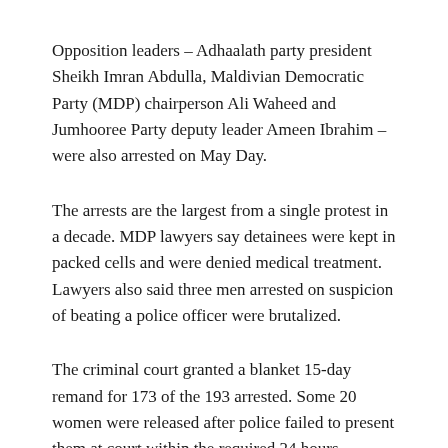Opposition leaders – Adhaalath party president Sheikh Imran Abdulla, Maldivian Democratic Party (MDP) chairperson Ali Waheed and Jumhooree Party deputy leader Ameen Ibrahim – were also arrested on May Day.
The arrests are the largest from a single protest in a decade. MDP lawyers say detainees were kept in packed cells and were denied medical treatment. Lawyers also said three men arrested on suspicion of beating a police officer were brutalized.
The criminal court granted a blanket 15-day remand for 173 of the 193 arrested. Some 20 women were released after police failed to present them at court within the required 24 hours. Opposition leaders were also remanded for 15 days.